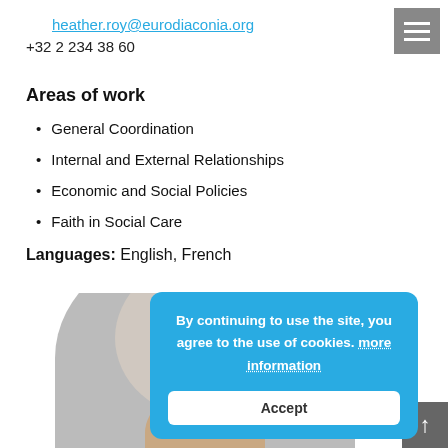heather.roy@eurodiaconia.org
+32 2 234 38 60
Areas of work
General Coordination
Internal and External Relationships
Economic and Social Policies
Faith in Social Care
Languages: English, French
[Figure (photo): Circular portrait photo of a person, partially visible at the bottom of the page]
By continuing to use the site, you agree to the use of cookies. more information
Accept